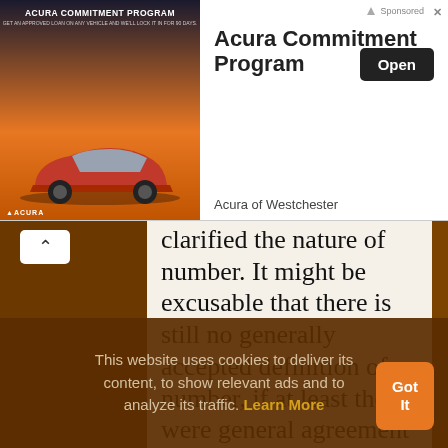[Figure (screenshot): Acura Commitment Program advertisement banner with car image on left, title and Open button on right, Acura of Westchester subtitle]
clarified the nature of number. It might be excusable that there is still no generally accepted definition of number, if at least there were general agreement on the matter itself. However, science has not even decided on whether number is an assemblage of things, or a figure drawn on the blackboard by the hand of man; whether it is
This website uses cookies to deliver its content, to show relevant ads and to analyze its traffic. Learn More
[Figure (screenshot): Got It button (orange rounded rectangle)]